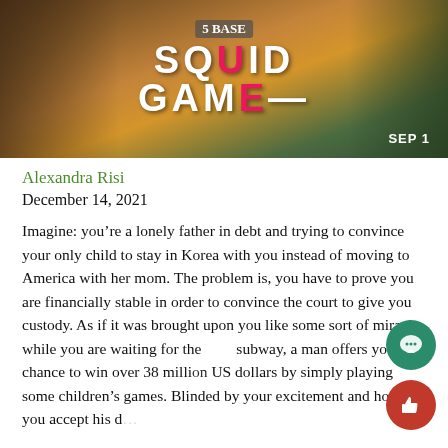[Figure (photo): Squid Game Netflix promotional banner image showing characters in green tracksuits with the Squid Game logo in white and pink text, with 'SEP 1' visible in bottom right corner]
Alexandra Risi
December 14, 2021
Imagine: you’re a lonely father in debt and trying to convince your only child to stay in Korea with you instead of moving to America with her mom. The problem is, you have to prove you are financially stable in order to convince the court to give you custody. As if it was brought upon you like some sort of miracle, while you are waiting for the subway, a man offers you the chance to win over 38 million US dollars by simply playing some children’s games. Blinded by your excitement and hopes, you accept his d...